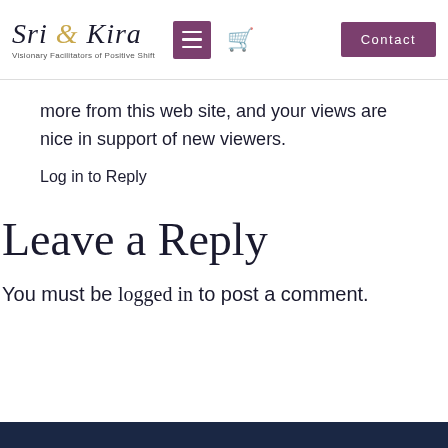Sri & Kira — Visionary Facilitators of Positive Shift [header with logo, menu, cart, contact button]
more from this web site, and your views are nice in support of new viewers.
Log in to Reply
Leave a Reply
You must be logged in to post a comment.